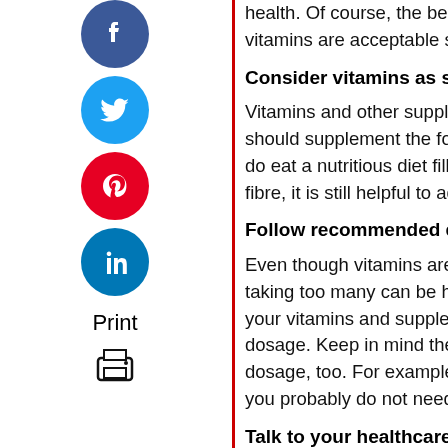[Figure (illustration): Social media share icons (Facebook, Twitter, Pinterest, LinkedIn) and a Print button with printer icon in a left sidebar]
health. Of course, the best nutrients come from vitamins are acceptable substitutes.
Consider vitamins as supplements, not rep
Vitamins and other supplements should not re should supplement the food that you eat on a do eat a nutritious diet filled with vitamins, mi fibre, it is still helpful to add a multivitamin or s
Follow recommended dosages
Even though vitamins are meant to help us m taking too many can be harmful. It is importan your vitamins and supplements to see the rec dosage. Keep in mind the food you eat when dosage, too. For example, if you eat citrus fru you probably do not need a full dosage of a vi
Talk to your healthcare provider
If you are planning to add vitamins and supple